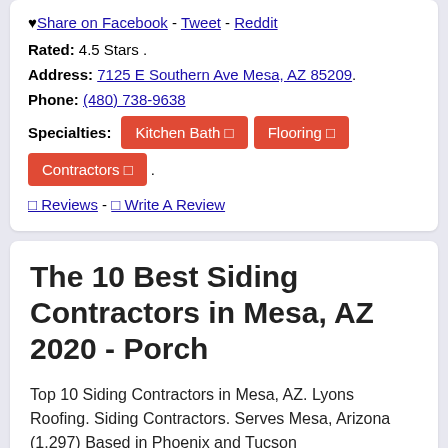♥ Share on Facebook - Tweet - Reddit
Rated: 4.5 Stars .
Address: 7125 E Southern Ave Mesa, AZ 85209.
Phone: (480) 738-9638
Specialties: Kitchen Bath  Flooring  Contractors .
Reviews - Write A Review
The 10 Best Siding Contractors in Mesa, AZ 2020 - Porch
Top 10 Siding Contractors in Mesa, AZ. Lyons Roofing. Siding Contractors. Serves Mesa, Arizona (1,297) Based in Phoenix and Tucson